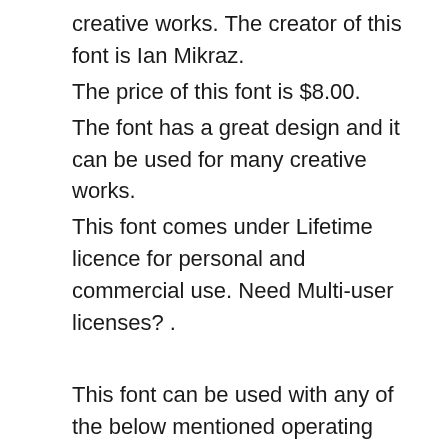creative works. The creator of this font is Ian Mikraz.
The price of this font is $8.00.
The font has a great design and it can be used for many creative works.
This font comes under Lifetime licence for personal and commercial use. Need Multi-user licenses? .
This font can be used with any of the below mentioned operating systems:
1. Windows